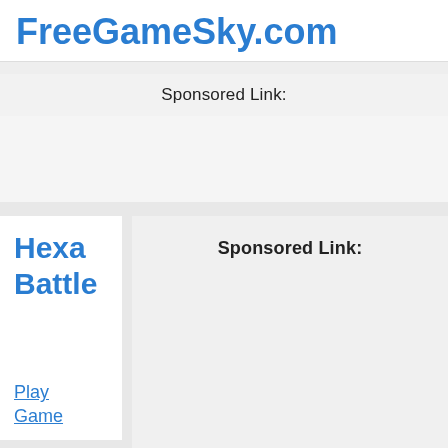FreeGameSky.com
Sponsored Link:
Hexa Battle
Sponsored Link:
Play Game